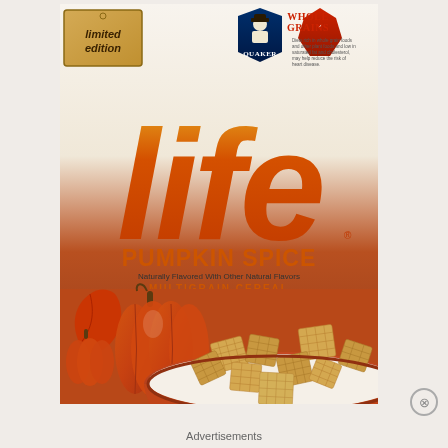[Figure (photo): Life Pumpkin Spice cereal box — limited edition, Quaker brand, showing large 'life' logo in orange/red gradient, pumpkin spice flavor text, multigrain cereal label, and bowl of cereal pieces with pumpkins at bottom]
Advertisements